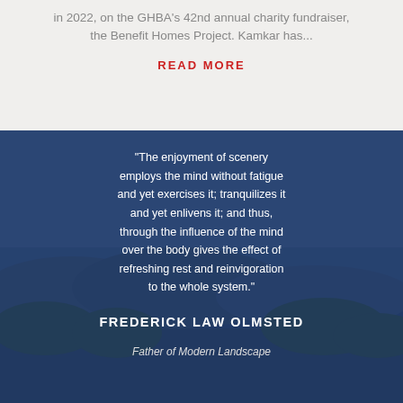in 2022, on the GHBA's 42nd annual charity fundraiser, the Benefit Homes Project. Kamkar has...
READ MORE
"The enjoyment of scenery employs the mind without fatigue and yet exercises it; tranquilizes it and yet enlivens it; and thus, through the influence of the mind over the body gives the effect of refreshing rest and reinvigoration to the whole system."
FREDERICK LAW OLMSTED
Father of Modern Landscape